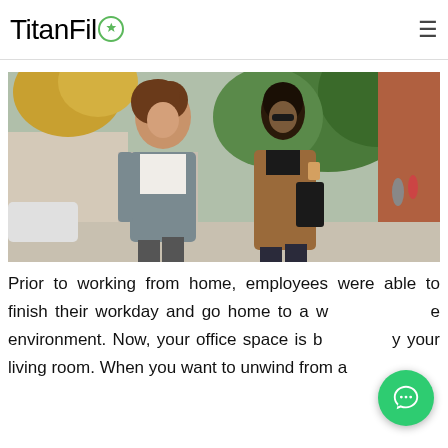TitanFile
[Figure (photo): Two professionals walking side by side on an outdoor street in autumn. A woman with curly hair in a grey blazer and a man wearing a brown coat, sunglasses and scarf, carrying a bag and a coffee cup. Trees with autumn foliage and a brick wall visible in background.]
Prior to working from home, employees were able to finish their workday and go home to a whole new environment. Now, your office space is basically your living room. When you want to unwind from a